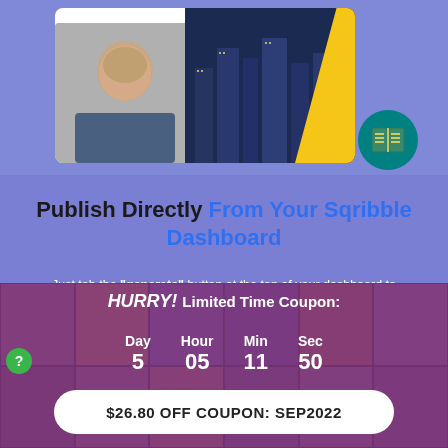[Figure (screenshot): Screenshot of a software dashboard showing a man smiling in front of city skyline with yellow diagonal stripe, with a teal book icon in bottom right]
Publish Directly From Your Sqribble Dashboard
Just tab the "generate" button at the top of your dashboard to instantly create ebooks online!
You can open it online, share it with anyone, or download it to your computer.
HURRY! Limited Time Coupon:
| Day | Hour | Min | Sec |
| --- | --- | --- | --- |
| 5 | 05 | 11 | 50 |
$26.80 OFF COUPON: SEP2022